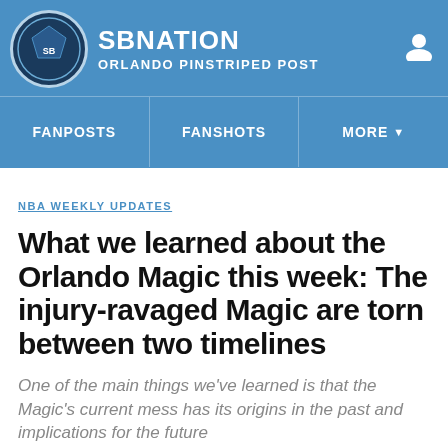SBNATION ORLANDO PINSTRIPED POST
NBA WEEKLY UPDATES
What we learned about the Orlando Magic this week: The injury-ravaged Magic are torn between two timelines
One of the main things we've learned is that the Magic's current mess has its origins in the past and implications for the future